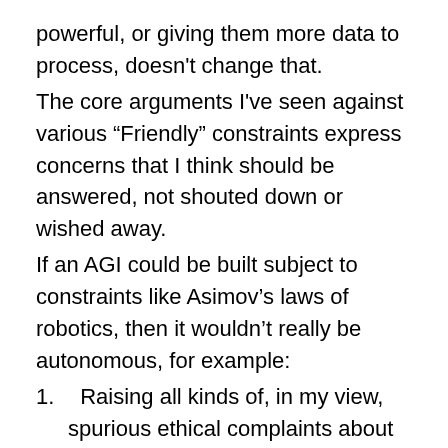powerful, or giving them more data to process, doesn't change that.
The core arguments I've seen against various “Friendly” constraints express concerns that I think should be answered, not shouted down or wished away.
If an AGI could be built subject to constraints like Asimov’s laws of robotics, then it wouldn’t really be autonomous, for example:
1.  Raising all kinds of, in my view, spurious ethical complaints about “enslaving” machines, but also
2.  The idea that a sufficiently intelligent AGI would find ways to make itself autonomous, removing the constraints, or creating successor AGIs without them
Some say AGIs would be “friendly” by definition, because they wouldn’t have any reason not to be (they wouldn’t want anything, they would bring about or be the product of